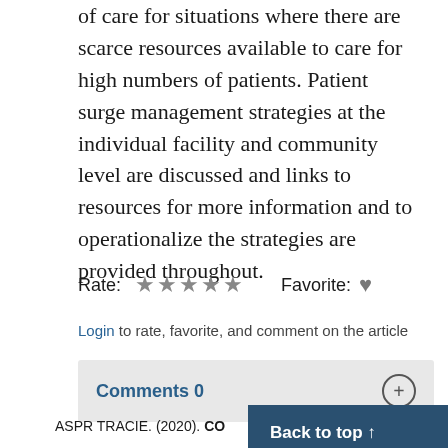of care for situations where there are scarce resources available to care for high numbers of patients. Patient surge management strategies at the individual facility and community level are discussed and links to resources for more information and to operationalize the strategies are provided throughout.
Rate: ★★★★★   Favorite: ♥
Login to rate, favorite, and comment on the article
Comments 0
ASPR TRACIE. (2020). CO… Standards of Care…